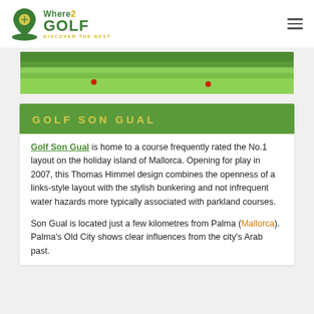Where2Golf - Discover the Best
[Figure (photo): Golf course green with fairway, two red markers/balls visible on the grass]
GOLF SON GUAL
Golf Son Gual is home to a course frequently rated the No.1 layout on the holiday island of Mallorca. Opening for play in 2007, this Thomas Himmel design combines the openness of a links-style layout with the stylish bunkering and not infrequent water hazards more typically associated with parkland courses.
Son Gual is located just a few kilometres from Palma (Mallorca). Palma's Old City shows clear influences from the city's Arab past.